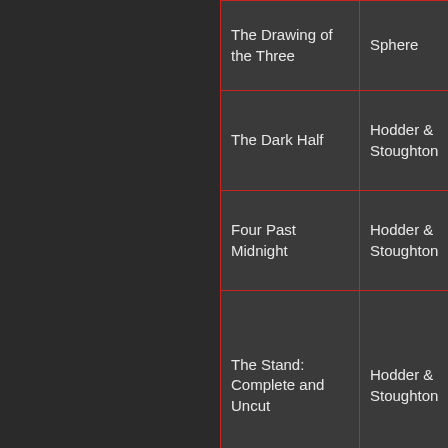| Title | Publisher | Year |
| --- | --- | --- |
| The Drawing of the Three | Sphere | 1989 |
| The Dark Half | Hodder & Stoughton | 1989 |
| Four Past Midnight | Hodder & Stoughton | 1990 |
| The Stand: Complete and Uncut | Hodder & Stoughton | 1990 |
| Needful Things | Hodder & Stoughton | 1991 |